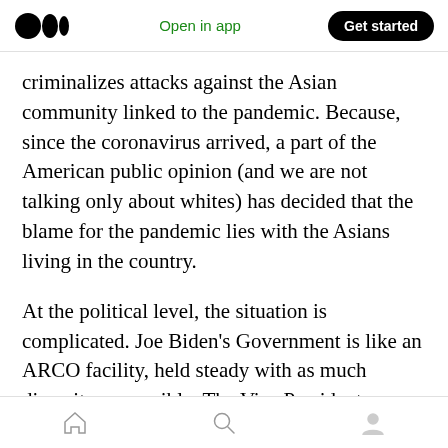Medium app header — logo, Open in app, Get started
criminalizes attacks against the Asian community linked to the pandemic. Because, since the coronavirus arrived, a part of the American public opinion (and we are not talking only about whites) has decided that the blame for the pandemic lies with the Asians living in the country.
At the political level, the situation is complicated. Joe Biden's Government is like an ARCO facility, held steady with as much diversity as possible. The Vice President, Kamala Harris, is a female and African American or Indian American
Bottom navigation bar with home, search, and profile icons